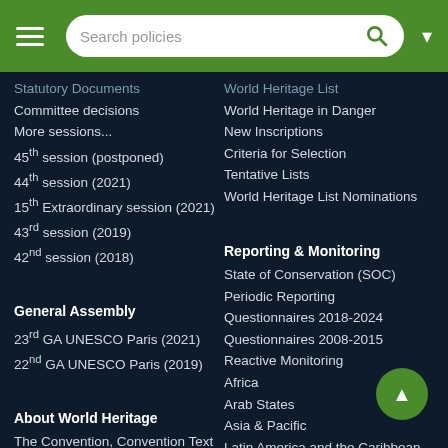Search policies
Statutory Documents
Committee decisions
More sessions...
45th session (postponed)
44th session (2021)
15th Extraordinary session (2021)
43rd session (2019)
42nd session (2018)
General Assembly
23rd GA UNESCO Paris (2021)
22nd GA UNESCO Paris (2019)
About World Heritage
The Convention, Convention Text
Policy Compendium
Operational Guidelines
The Emblem
The States Parties
World Heritage List
World Heritage in Danger
New Inscriptions
Criteria for Selection
Tentative Lists
World Heritage List Nominations
Reporting & Monitoring
State of Conservation (SOC)
Periodic Reporting
Questionnaires 2018-2024
Questionnaires 2008-2015
Reactive Monitoring
Africa
Arab States
Asia & Pacific
Latin America and the Caribbean
Europe and North America